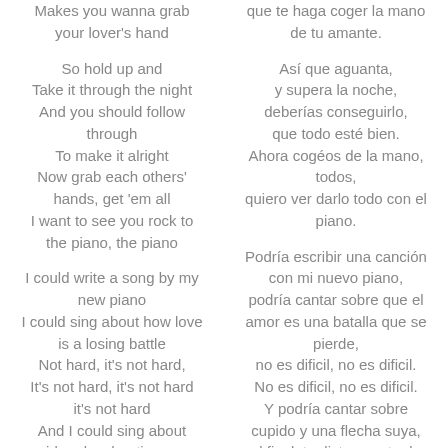Makes you wanna grab
your lover's hand
que te haga coger la mano
de tu amante.
So hold up and
Take it through the night
And you should follow
through
To make it alright
Now grab each others'
hands, get 'em all
I want to see you rock to
the piano, the piano
Así que aguanta,
y supera la noche,
deberías conseguirlo,
que todo esté bien.
Ahora cogéos de la mano,
todos,
quiero ver darlo todo con el
piano.
I could write a song by my
new piano
I could sing about how love
is a losing battle
Not hard, it's not hard,
It's not hard, it's not hard
it's not hard
And I could sing about
cupid and a shooting arrow
Podría escribir una canción
con mi nuevo piano,
podría cantar sobre que el
amor es una batalla que se
pierde,
no es dificil, no es dificil.
No es dificil, no es dificil.
Y podría cantar sobre
cupido y una flecha suya,
al final, te diste cuenta de